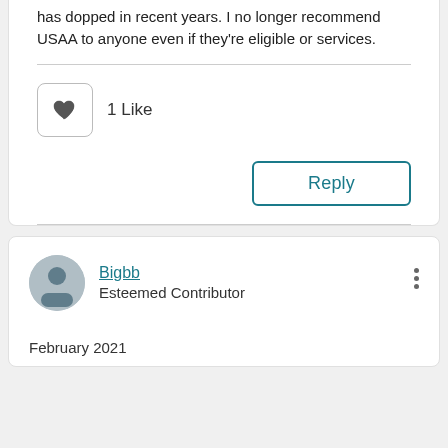has dopped in recent years. I no longer recommend USAA to anyone even if they're eligible or services.
[Figure (other): Like button with heart icon showing 1 Like]
[Figure (other): Reply button]
Bigbb
Esteemed Contributor
February 2021